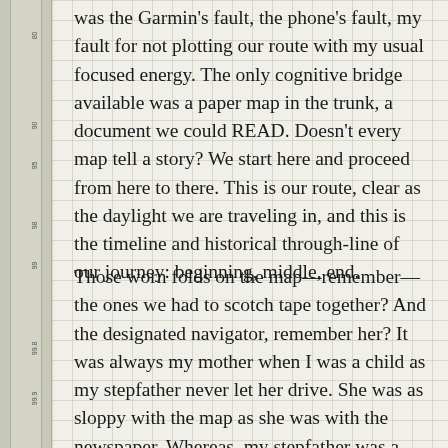was the Garmin's fault, the phone's fault, my fault for not plotting our route with my usual focused energy. The only cognitive bridge available was a paper map in the trunk, a document we could READ. Doesn't every map tell a story? We start here and proceed from here to there. This is our route, clear as the daylight we are traveling in, and this is the timeline and historical through-line of our journey: beginning, middle, end.
Those worn folds on the map—remember—the ones we had to scotch tape together? And the designated navigator, remember her? It was always my mother when I was a child as my stepfather never let her drive. She was as sloppy with the map as she was with the newspaper. Whereas, my stepfather was a meticulous folder of both. I have some of these old family maps, and older ones, too, as I once collected them from flea markets and thrift stores as memorabilia of a bygone car- travel-only-age. There they sit